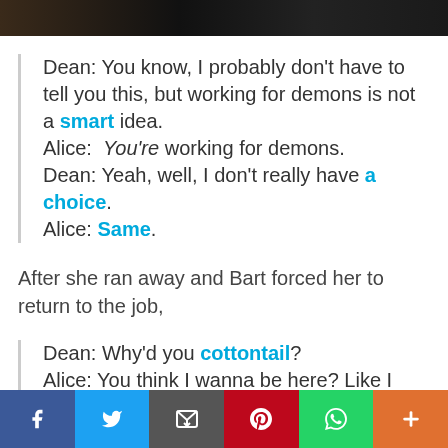[Figure (photo): Partial top image strip showing dark scene]
Dean: You know, I probably don't have to tell you this, but working for demons is not a smart idea.
Alice: You're working for demons.
Dean: Yeah, well, I don't really have a choice.
Alice: Same.
After she ran away and Bart forced her to return to the job,
Dean: Why'd you cottontail?
Alice: You think I wanna be here? Like I have a choice?